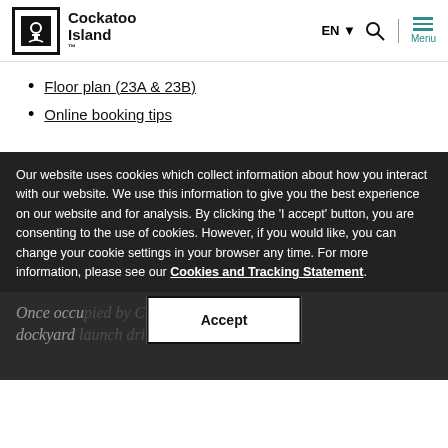Cockatoo Island™ — EN | Menu
Floor plan (23A & 23B)
Online booking tips
Our website uses cookies which collect information about how you interact with our website. We use this information to give you the best experience on our website and for analysis. By clicking the 'I accept' button, you are consenting to the use of cookies. However, if you would like, you can change your cookie settings in your browser any time. For more information, please see our Cookies and Tracking Statement.
Accept
Once occupied by Cockatoo Island's dockyard launch driver and